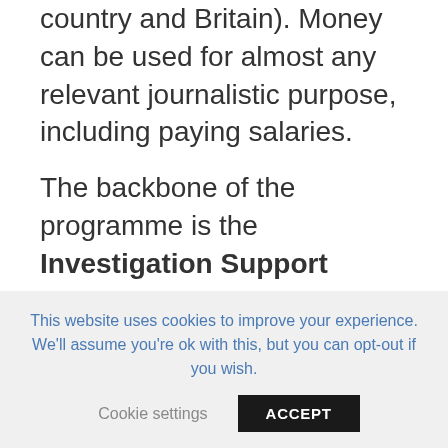country and Britain). Money can be used for almost any relevant journalistic purpose, including paying salaries.
The backbone of the programme is the Investigation Support Scheme, which offers grants of between €5,000 and €50,000 for new cross-border investigative projects.
Run by IPI, the Investigation Support Scheme aims to disburse €925,000 in 2021. I4EU expects...
This website uses cookies to improve your experience. We'll assume you're ok with this, but you can opt-out if you wish.
Cookie settings
ACCEPT